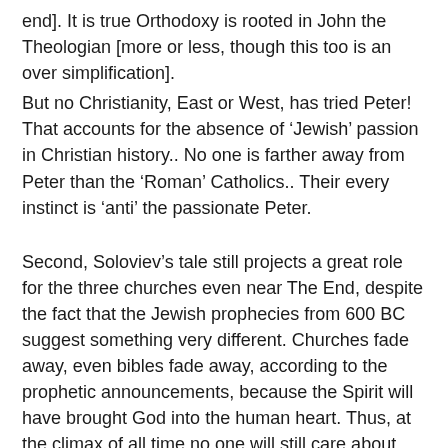end]. It is true Orthodoxy is rooted in John the Theologian [more or less, though this too is an over simplification].
But no Christianity, East or West, has tried Peter! That accounts for the absence of ‘Jewish’ passion in Christian history.. No one is farther away from Peter than the ‘Roman’ Catholics.. Their every instinct is ‘anti’ the passionate Peter.
Second, Soloviev’s tale still projects a great role for the three churches even near The End, despite the fact that the Jewish prophecies from 600 BC suggest something very different. Churches fade away, even bibles fade away, according to the prophetic announcements, because the Spirit will have brought God into the human heart. Thus, at the climax of all time no one will still care about Roman Catholic, Protestant, Orthodox, as ‘jurisdictions’ any more. No one will be cowed by them anymore.. Some of their role in regard to the